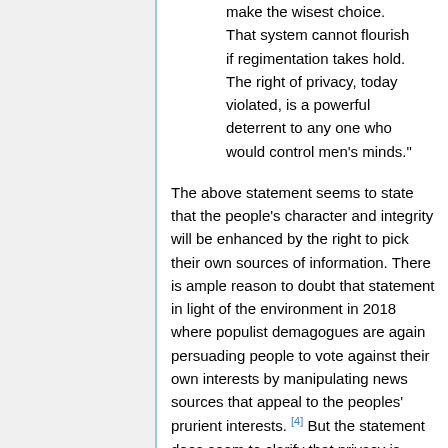make the wisest choice. That system cannot flourish if regimentation takes hold. The right of privacy, today violated, is a powerful deterrent to any one who would control men's minds."
The above statement seems to state that the people's character and integrity will be enhanced by the right to pick their own sources of information. There is ample reason to doubt that statement in light of the environment in 2018 where populist demagogues are again persuading people to vote against their own interests by manipulating news sources that appeal to the peoples' prurient interests. [4] But the statement does seem to clarify that privacy is about